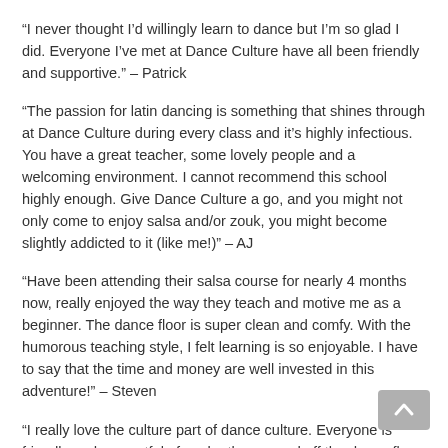“I never thought I’d willingly learn to dance but I’m so glad I did. Everyone I’ve met at Dance Culture have all been friendly and supportive.” – Patrick
“The passion for latin dancing is something that shines through at Dance Culture during every class and it’s highly infectious. You have a great teacher, some lovely people and a welcoming environment. I cannot recommend this school highly enough. Give Dance Culture a go, and you might not only come to enjoy salsa and/or zouk, you might become slightly addicted to it (like me!)” – AJ
“Have been attending their salsa course for nearly 4 months now, really enjoyed the way they teach and motive me as a beginner. The dance floor is super clean and comfy. With the humorous teaching style, I felt learning is so enjoyable. I have to say that the time and money are well invested in this adventure!” – Steven
“I really love the culture part of dance culture. Everyone is friendly and respectful of each other on and off the dance floor. I’ve danced and assisted many schools over the years and I have to say this is the best to date.” – Tonia